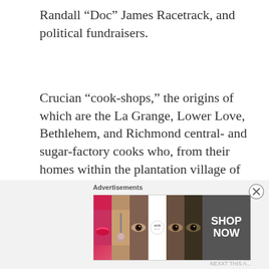Randall “Doc” James Racetrack, and political fundraisers.
Crucian “cook-shops,” the origins of which are the La Grange, Lower Love, Bethlehem, and Richmond central- and sugar-factory cooks who, from their homes within the plantation village of each respective sugar factory, would provide daily lunches for the sugarcane laborers who did not bring their lunches [typically carried in traditional enamel or aluminum “stack-pans” that allowed for each element of the home cooked meal to be placed into a
[Figure (other): Ulta Beauty advertisement banner with cosmetic imagery including lips, makeup brush, eyes, Ulta logo, and a SHOP NOW call to action button]